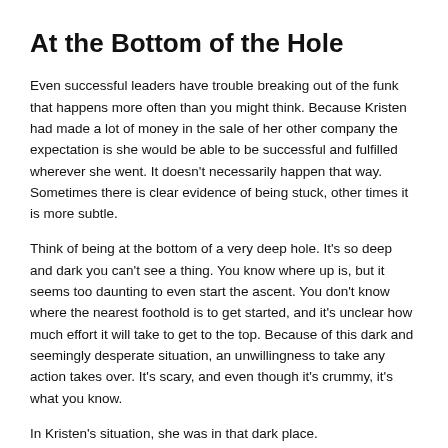At the Bottom of the Hole
Even successful leaders have trouble breaking out of the funk that happens more often than you might think. Because Kristen had made a lot of money in the sale of her other company the expectation is she would be able to be successful and fulfilled wherever she went. It doesn’t necessarily happen that way. Sometimes there is clear evidence of being stuck, other times it is more subtle.
Think of being at the bottom of a very deep hole. It’s so deep and dark you can’t see a thing. You know where up is, but it seems too daunting to even start the ascent. You don’t know where the nearest foothold is to get started, and it’s unclear how much effort it will take to get to the top. Because of this dark and seemingly desperate situation, an unwillingness to take any action takes over. It’s scary, and even though it’s crummy, it’s what you know.
In Kristen’s situation, she was in that dark place.
Before you get out of the hole, let’s get an idea of what got you